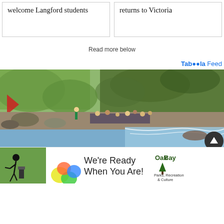welcome Langford students
returns to Victoria
Read more below
Taboola Feed
[Figure (photo): People gathered along a rocky riverbank with green trees in background, water cascading over rocks]
[Figure (other): Advertisement banner: Oak Bay Parks, Recreation & Culture - We're Ready When You Are! with golfer image and colorful shapes]